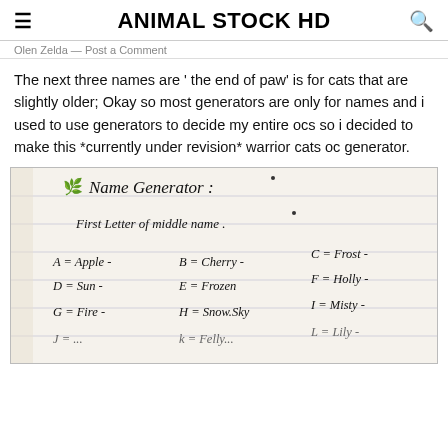ANIMAL STOCK HD
Olen Zelda — Post a Comment
The next three names are ' the end of paw' is for cats that are slightly older; Okay so most generators are only for names and i used to use generators to decide my entire ocs so i decided to make this *currently under revision* warrior cats oc generator.
[Figure (photo): A handwritten notebook page showing a 'Name Generator' chart. The page has lined paper and shows 'First Letter of Middle name:' with entries A=Apple-, B=Cherry-, C=Frost-, D=Sun-, E=Frozen, F=Holly-, G=Fire-, H=Snow.Sky, I=Misty-, and partially visible more entries below.]